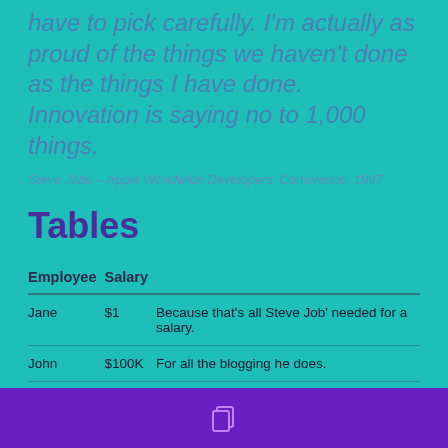have to pick carefully. I'm actually as proud of the things we haven't done as the things I have done. Innovation is saying no to 1,000 things.
Steve Jobs – Apple Worldwide Developers' Conference, 1997
Tables
| Employee | Salary |  |
| --- | --- | --- |
| Jane | $1 | Because that's all Steve Job' needed for a salary. |
| John | $100K | For all the blogging he does. |
[Figure (illustration): Purple bottom bar with a copy/duplicate icon in white]